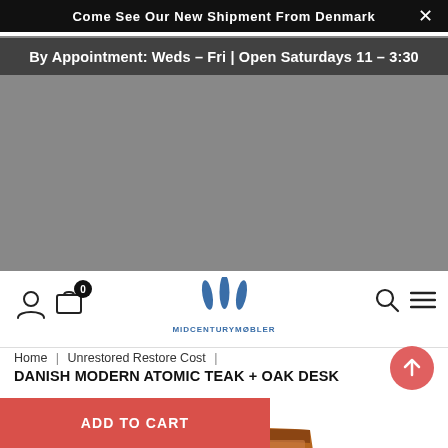Come See Our New Shipment From Denmark
By Appointment: Weds - Fri | Open Saturdays 11 - 3:30
[Figure (logo): Midcentury Møbler logo with three blue diamond/leaf shapes above text MIDCENTURYMØBLER]
Home | Unrestored Restore Cost |
DANISH MODERN ATOMIC TEAK + OAK DESK
[Figure (photo): Danish modern teak and oak desk with raised back shelf, three drawers with round pulls, and angled oak legs on white background]